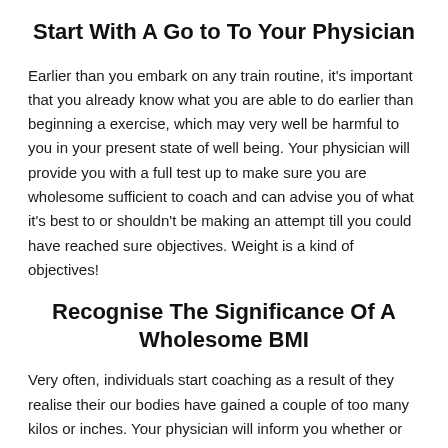Start With A Go to To Your Physician
Earlier than you embark on any train routine, it's important that you already know what you are able to do earlier than beginning a exercise, which may very well be harmful to you in your present state of well being. Your physician will provide you with a full test up to make sure you are wholesome sufficient to coach and can advise you of what it's best to or shouldn't be making an attempt till you could have reached sure objectives. Weight is a kind of objectives!
Recognise The Significance Of A Wholesome BMI
Very often, individuals start coaching as a result of they realise their our bodies have gained a couple of too many kilos or inches. Your physician will inform you whether or not